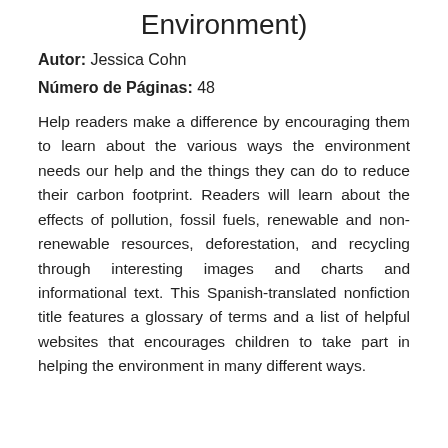Environment)
Autor: Jessica Cohn
Número de Páginas: 48
Help readers make a difference by encouraging them to learn about the various ways the environment needs our help and the things they can do to reduce their carbon footprint. Readers will learn about the effects of pollution, fossil fuels, renewable and non-renewable resources, deforestation, and recycling through interesting images and charts and informational text. This Spanish-translated nonfiction title features a glossary of terms and a list of helpful websites that encourages children to take part in helping the environment in many different ways.